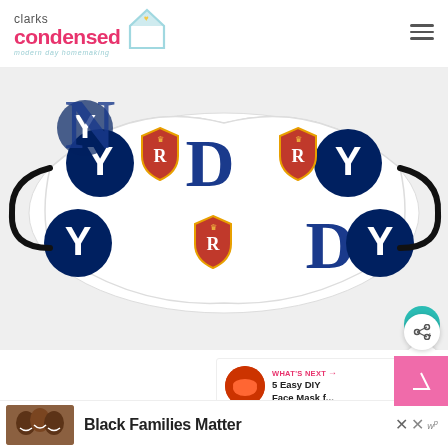clarks condensed — modern day homemaking
[Figure (photo): A cloth face mask with BYU and Real Salt Lake sports team logos on a white fabric background, with black elastic ear loops on each side.]
WHAT'S NEXT → 5 Easy DIY Face Mask f...
[Figure (photo): Three smiling children close together, used as thumbnail for an ad or article.]
Black Families Matter